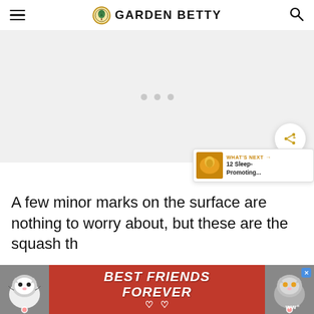GARDEN BETTY
[Figure (other): Light gray placeholder image area with three gray dots in the center, representing a loading or placeholder content slot. A share button is at the bottom right.]
A few minor marks on the surface are nothing to worry about, but these are the squash th
[Figure (other): Advertisement banner: red background with two cat illustrations on left and right. White bold italic text reads 'BEST FRIENDS FOREVER' with heart symbols. Blue X close button in top right. 'ww' logo bottom right.]
WHAT'S NEXT → 12 Sleep-Promoting...